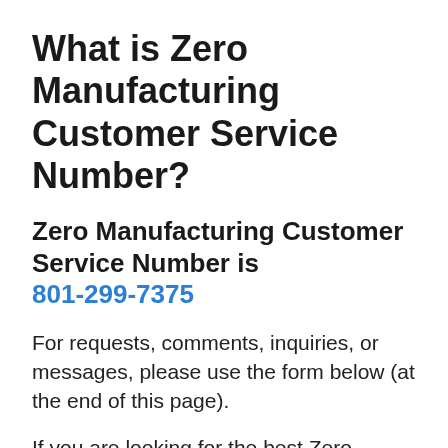What is Zero Manufacturing Customer Service Number?
Zero Manufacturing Customer Service Number is 801-299-7375
For requests, comments, inquiries, or messages, please use the form below (at the end of this page).
If you are looking for the best Zero Manufacturing customer service number,